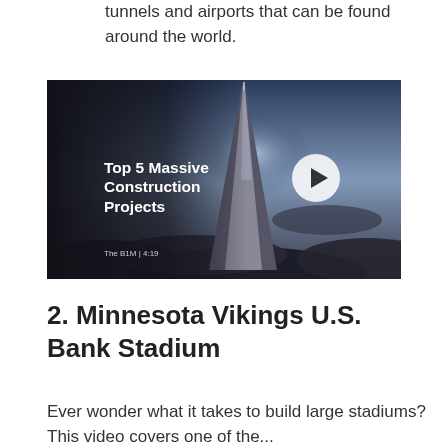tunnels and airports that can be found around the world.
[Figure (screenshot): Video thumbnail for 'Top 5 Massive Construction Projects' by The B1M, duration 4:19. Shows a tall futuristic skyscraper tower rising through clouds with a play button overlay.]
2. Minnesota Vikings U.S. Bank Stadium
Ever wonder what it takes to build large stadiums? This video covers one of the...